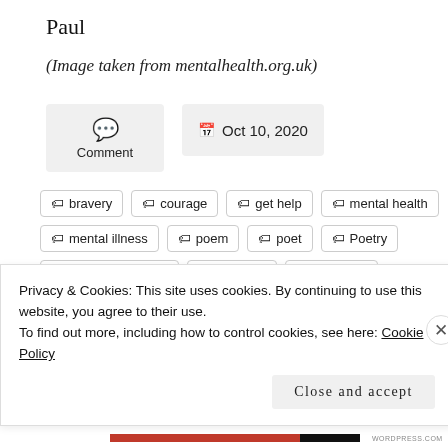Paul
(Image taken from mentalhealth.org.uk)
Comment
Oct 10, 2020
bravery
courage
get help
mental health
mental illness
poem
poet
Poetry
poetrycommunity
recovery
speak up
Privacy & Cookies: This site uses cookies. By continuing to use this website, you agree to their use.
To find out more, including how to control cookies, see here: Cookie Policy
Close and accept